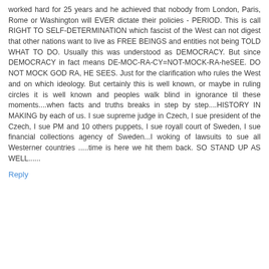worked hard for 25 years and he achieved that nobody from London, Paris, Rome or Washington will EVER dictate their policies - PERIOD. This is call RIGHT TO SELF-DETERMINATION which fascist of the West can not digest that other nations want to live as FREE BEINGS and entities not being TOLD WHAT TO DO. Usually this was understood as DEMOCRACY. But since DEMOCRACY in fact means DE-MOC-RA-CY=NOT-MOCK-RA-heSEE. DO NOT MOCK GOD RA, HE SEES. Just for the clarification who rules the West and on which ideology. But certainly this is well known, or maybe in ruling circles it is well known and peoples walk blind in ignorance til these moments....when facts and truths breaks in step by step....HISTORY IN MAKING by each of us. I sue supreme judge in Czech, I sue president of the Czech, I sue PM and 10 others puppets, I sue royall court of Sweden, I sue financial collections agency of Sweden...I woking of lawsuits to sue all Westerner countries .....time is here we hit them back. SO STAND UP AS WELL......
Reply